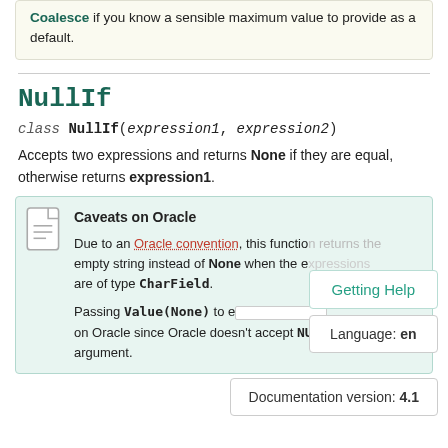Coalesce if you know a sensible maximum value to provide as a default.
NullIf
class NullIf(expression1, expression2)
Accepts two expressions and returns None if they are equal, otherwise returns expression1.
Caveats on Oracle
Due to an Oracle convention, this function returns the empty string instead of None when the expressions are of type CharField.
Passing Value(None) to e... on Oracle since Oracle doesn't accept NULL as the first argument.
Getting Help
Language: en
Documentation version: 4.1